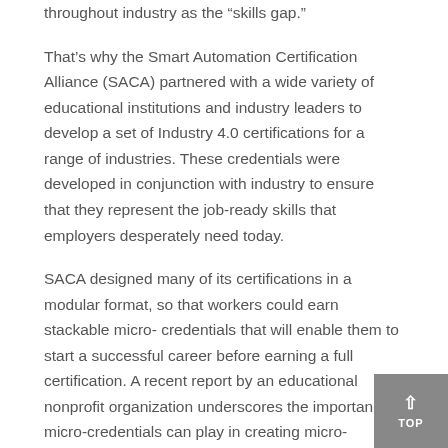throughout industry as the “skills gap.”
That’s why the Smart Automation Certification Alliance (SACA) partnered with a wide variety of educational institutions and industry leaders to develop a set of Industry 4.0 certifications for a range of industries. These credentials were developed in conjunction with industry to ensure that they represent the job-ready skills that employers desperately need today.
SACA designed many of its certifications in a modular format, so that workers could earn stackable micro-credentials that will enable them to start a successful career before earning a full certification. A recent report by an educational nonprofit organization underscores the importance micro-credentials can play in creating micro-pathways to career success.
In this article, we will take a closer look at examples of